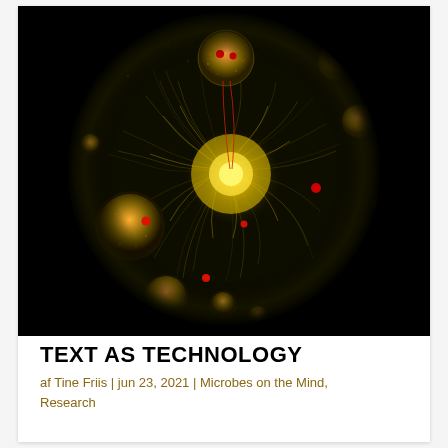[Figure (illustration): A microscopic or data visualization image showing a circular dark background with a complex network/organism-like structure. Central glowing yellow-orange mass radiates filament-like tendrils outward. Multiple spherical nodes (orange/yellow) are distributed around the periphery of the circle, with small red dot highlights. The overall appearance resembles either a microbial colony visualization or an artistic network graph on a black background.]
TEXT AS TECHNOLOGY
af Tine Friis | jun 23, 2021 | Microbes on the Mind, Research